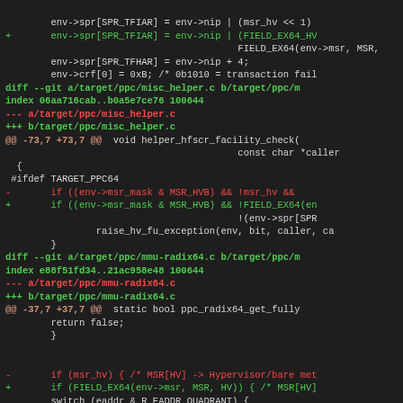Source code diff view showing changes to target/ppc/misc_helper.c and target/ppc/mmu-radix64.c, replacing msr_hv with FIELD_EX64 macro calls
[Figure (screenshot): Git diff output showing code changes in two files: misc_helper.c and mmu-radix64.c, with added lines in green, removed lines in red, and diff headers in bold green]